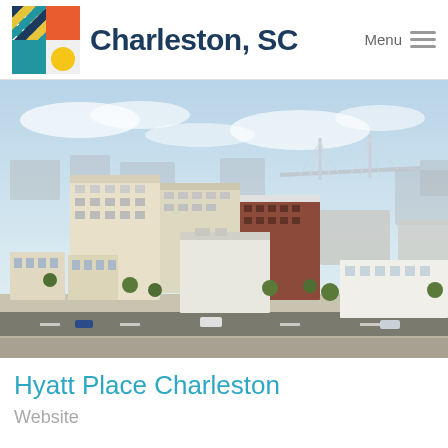Charleston, SC
[Figure (photo): Aerial architectural rendering of Hyatt Place Charleston hotel complex with surrounding city blocks, streets with cars, and the Arthur Ravenel Jr. Bridge visible in the background]
Hyatt Place Charleston
Website